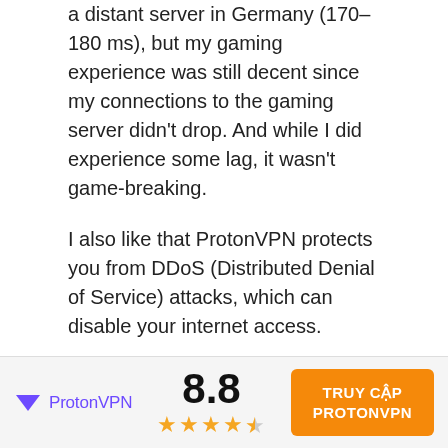a distant server in Germany (170–180 ms), but my gaming experience was still decent since my connections to the gaming server didn't drop. And while I did experience some lag, it wasn't game-breaking.
I also like that ProtonVPN protects you from DDoS (Distributed Denial of Service) attacks, which can disable your internet access.
And you can also use ProtonVPN on gaming devices that don't natively support VPNs, like Xbox and PlayStation consoles. The provider has helpful tutorials (which even include screenshots)
[Figure (infographic): Footer bar with ProtonVPN logo, score of 8.8 with 4.5 stars, and orange CTA button 'TRUY CẬP PROTONVPN']